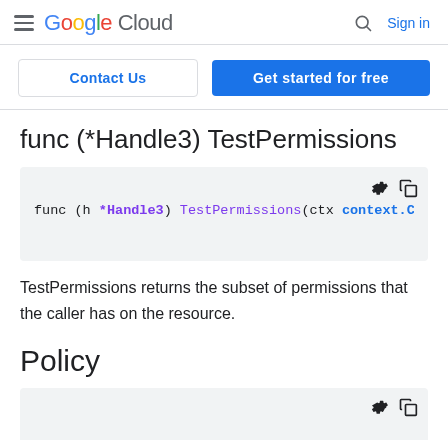Google Cloud — Sign in
Contact Us | Get started for free
func (*Handle3) TestPermissions
[Figure (screenshot): Code block showing: func (h *Handle3) TestPermissions(ctx context.Con]
TestPermissions returns the subset of permissions that the caller has on the resource.
Policy
[Figure (screenshot): Partial code block with icons at bottom of page]